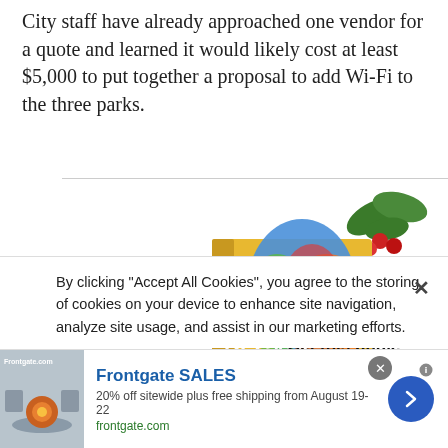City staff have already approached one vendor for a quote and learned it would likely cost at least $5,000 to put together a proposal to add Wi-Fi to the three parks.
[Figure (illustration): Advertisement for 'The Gap Decade' book by Katie Schnack with text 'Like to laugh? Get this book!' and a holly decoration]
By clicking "Accept All Cookies", you agree to the storing of cookies on your device to enhance site navigation, analyze site usage, and assist in our marketing efforts.
[Figure (infographic): Frontgate SALES advertisement - 20% off sitewide plus free shipping from August 19-22, frontgate.com]